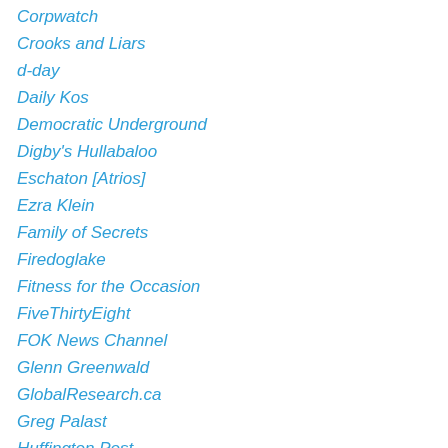Corpwatch
Crooks and Liars
d-day
Daily Kos
Democratic Underground
Digby's Hullabaloo
Eschaton [Atrios]
Ezra Klein
Family of Secrets
Firedoglake
Fitness for the Occasion
FiveThirtyEight
FOK News Channel
Glenn Greenwald
GlobalResearch.ca
Greg Palast
Huffington Post
Largest Minority
Last-of-Iraqis
Liberal Values – Defending Liberty and Enlightened Thought